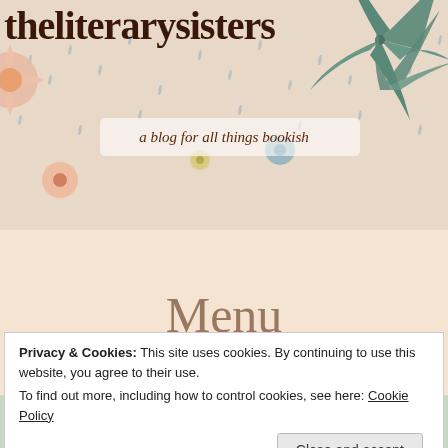theliterarysisters
a blog for all things bookish
Menu
Tag Archives: Leonora
Privacy & Cookies: This site uses cookies. By continuing to use this website, you agree to their use.
To find out more, including how to control cookies, see here: Cookie Policy
Close and accept
Penguin